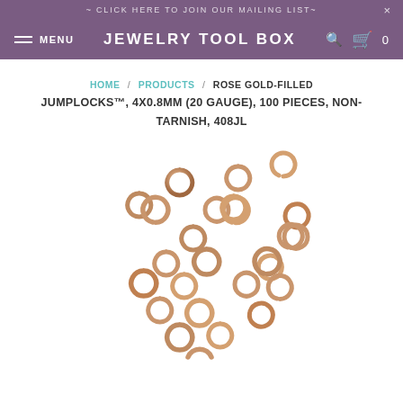~ CLICK HERE TO JOIN OUR MAILING LIST~
JEWELRY TOOL BOX — MENU — Search — Cart 0
HOME / PRODUCTS / ROSE GOLD-FILLED JUMPLOCKS™, 4X0.8MM (20 GAUGE), 100 PIECES, NON-TARNISH, 408JL
[Figure (photo): Product photo of rose gold-filled jumplocks — small rose-gold colored open jump rings scattered on a white background, approximately 30 pieces visible]